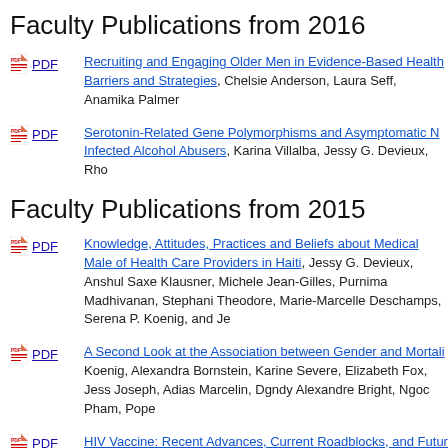Faculty Publications from 2016
PDF Recruiting and Engaging Older Men in Evidence-Based Health Barriers and Strategies, Chelsie Anderson, Laura Seff, Anamika Palmer
PDF Serotonin-Related Gene Polymorphisms and Asymptomatic N Infected Alcohol Abusers, Karina Villalba, Jessy G. Devieux, Rho
Faculty Publications from 2015
PDF Knowledge, Attitudes, Practices and Beliefs about Medical Male of Health Care Providers in Haiti, Jessy G. Devieux, Anshul Saxe Klausner, Michele Jean-Gilles, Purnima Madhivanan, Stephani Theodore, Marie-Marcelle Deschamps, Serena P. Koenig, and Je
PDF A Second Look at the Association between Gender and Mortali Koenig, Alexandra Bornstein, Karine Severe, Elizabeth Fox, Jess Joseph, Adias Marcelin, Dgndy Alexandre Bright, Ngoc Pham, Pope
PDF HIV Vaccine: Recent Advances, Current Roadblocks, and Futur Venkataraghavan Ramamoorthy, Anshul Saxena, Nancy Sheh